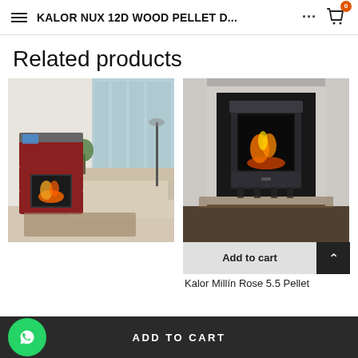KALOR NUX 12D WOOD PELLET D...
Related products
[Figure (photo): Red and grey pellet wood stove in a modern living room with sofa and large windows]
[Figure (photo): Dark grey/black pellet stove with fire visible through glass door, shown in an elegant room with marble surround]
Add to cart
Kalor Millín Rose 5.5 Pellet
ADD TO CART